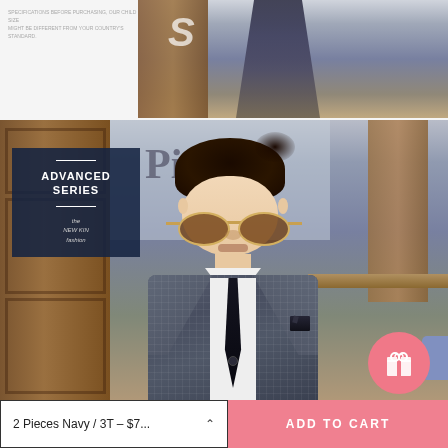[Figure (photo): Top partial photo: boy in navy plaid suit, full body, leaning against wall]
[Figure (photo): Main large photo: young boy wearing navy plaid blazer, white shirt, dark tie, and round brown sunglasses, with 'ADVANCED SERIES' badge overlay in top-left corner]
2 Pieces Navy / 3T – $7...
ADD TO CART